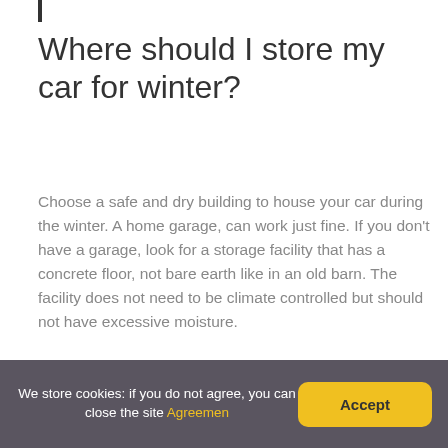Where should I store my car for winter?
Choose a safe and dry building to house your car during the winter. A home garage, can work just fine. If you don't have a garage, look for a storage facility that has a concrete floor, not bare earth like in an old barn. The facility does not need to be climate controlled but should not have excessive moisture.
Are muscle cars good in the snow?
We store cookies: if you do not agree, you can close the site Agreemen   Accept